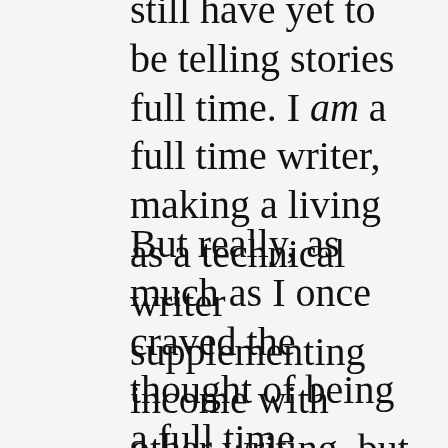still have yet to be telling stories full time. I am a full time writer, making a living as a technical writer supplementing income with other writing, but I did think I'd be a full time novelist by this point in my life.
But really, as much as I once craved the thought of being a full time novelist (and still do), I'm happy with my life. I've been with my wife for 20 years, I've juggled for 31 years, and have great friends and a fun life. Sure, I want to tell stories full time, but if it never happens, I've had enough close calls to know that I'm good. What's